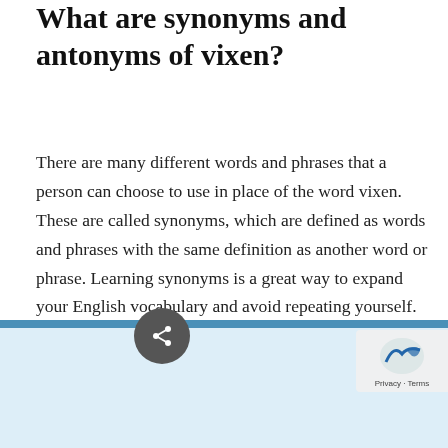What are synonyms and antonyms of vixen?
There are many different words and phrases that a person can choose to use in place of the word vixen. These are called synonyms, which are defined as words and phrases with the same definition as another word or phrase. Learning synonyms is a great way to expand your English vocabulary and avoid repeating yourself. This list of synonyms of vixen is from Power Thesaurus.